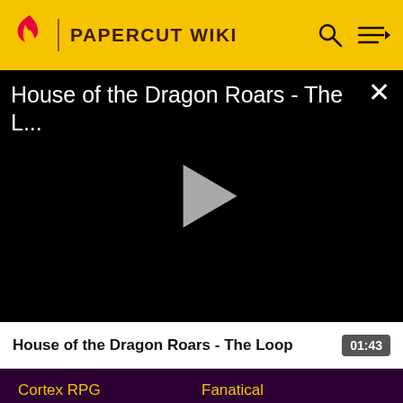PAPERCUT WIKI
[Figure (screenshot): Video player showing 'House of the Dragon Roars - The L...' with a play button on a black background and a close (X) button]
House of the Dragon Roars - The Loop  01:43
Cortex RPG
Fanatical
Muthead